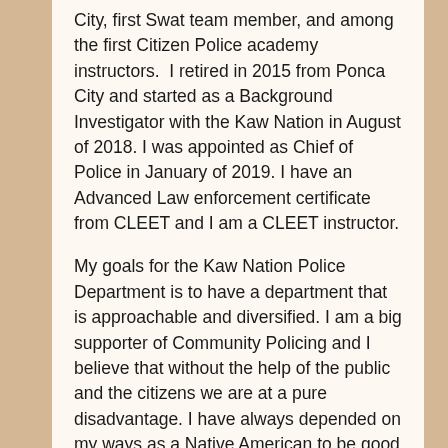City, first Swat team member, and among the first Citizen Police academy instructors.  I retired in 2015 from Ponca City and started as a Background Investigator with the Kaw Nation in August of 2018. I was appointed as Chief of Police in January of 2019. I have an Advanced Law enforcement certificate from CLEET and I am a CLEET instructor.
My goals for the Kaw Nation Police Department is to have a department that is approachable and diversified. I am a big supporter of Community Policing and I believe that without the help of the public and the citizens we are at a pure disadvantage. I have always depended on my ways as a Native American to be good to others and to always be there to help someone in need. Since I am Ponca I understand a lot of the Kanza language because our tribes both come from the Dhegiha linguistic family. I am grateful that I have been given the opportunity to serve a tribe that is related to my own. I moved to Newkirk in 1989 and have met numerous Kanza people young and old while living here. I want this Police Department to not